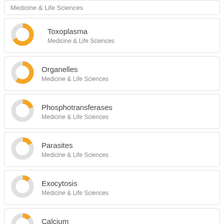Medicine & Life Sciences (partial top)
Toxoplasma - Medicine & Life Sciences
Organelles - Medicine & Life Sciences
Phosphotransferases - Medicine & Life Sciences
Parasites - Medicine & Life Sciences
Exocytosis - Medicine & Life Sciences
Calcium - Medicine & Life Sciences
Protein Deplease Dk 1 (partial bottom)